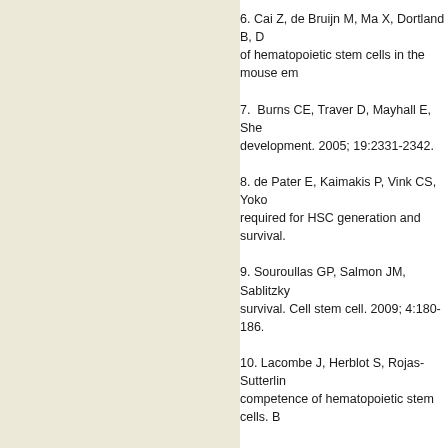6. Cai Z, de Bruijn M, Ma X, Dortland B, D... of hematopoietic stem cells in the mouse em...
7. Burns CE, Traver D, Mayhall E, She... development. 2005; 19:2331-2342.
8. de Pater E, Kaimakis P, Vink CS, Yoko... required for HSC generation and survival.
9. Souroullas GP, Salmon JM, Sablitzky... survival. Cell stem cell. 2009; 4:180-186.
10. Lacombe J, Herblot S, Rojas-Sutterlin... competence of hematopoietic stem cells. B...
11. Pietras EM, Warr MR, Passegue E. Cell...
12. Jagannathan-Bogdan M, Zon LI. Hema...
13. Christensen JL, Weissman IL. Flk-2... Proceedings of the National Academy of Sc...
14. Nakamura-Ishizu A, Takizawa H, Suc... 141:4656-4666.
15. Wang JC, Dick JE. Cancer stem cells: l...